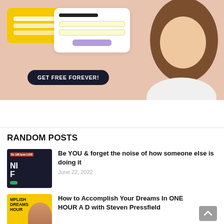[Figure (illustration): Promotional banner with a woman smiling, a form UI mockup, yellow block with lines, blue circle with checkmark, and a dark 'GET FREE FOREVER!' CTA button on a peach/salmon background.]
RANDOM POSTS
[Figure (photo): Thumbnail of a person against a dark background with a red label and green dot at bottom.]
Be YOU & forget the noise of how someone else is doing it
June 22, 2022
[Figure (photo): Thumbnail with yellow background, text reading 'MPLISH DREAMS HOUR' and a person's face.]
How to Accomplish Your Dreams In ONE HOUR A D with Steven Pressfield